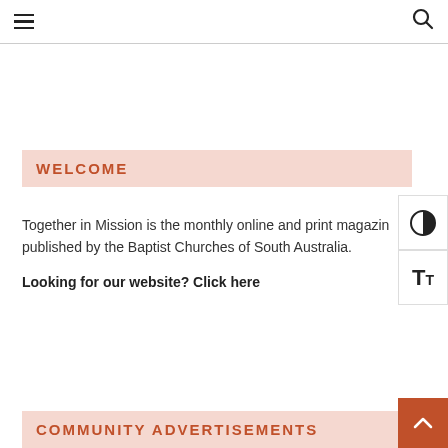≡  🔍
WELCOME
Together in Mission is the monthly online and print magazine published by the Baptist Churches of South Australia.
Looking for our website? Click here
COMMUNITY ADVERTISEMENTS